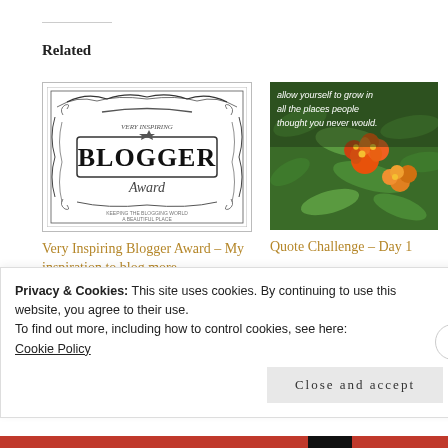Related
[Figure (illustration): Very Inspiring Blogger Award badge - ornate black and white design with 'BLOGGER' text in center]
Very Inspiring Blogger Award – My inspiration to blog more
December 31, 2014
In "Moon's Diary"
[Figure (photo): Orange and yellow flowers (lantana) with green foliage and text overlay: 'allow yourself to grow in all the places people thought you never would.']
Quote Challenge – Day 1
June 20, 2015
In "Moon's Diary"
Privacy & Cookies: This site uses cookies. By continuing to use this website, you agree to their use.
To find out more, including how to control cookies, see here:
Cookie Policy
Close and accept